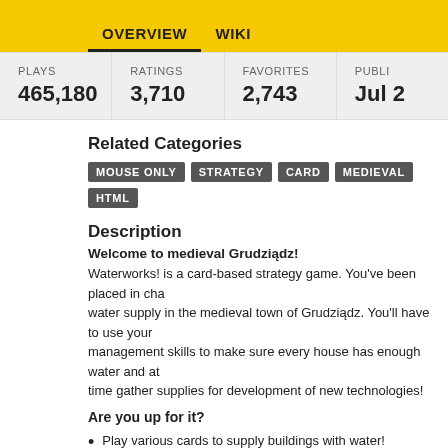OVERVIEW   WIKI
| PLAYS | RATINGS | FAVORITES | PUBLI... |
| --- | --- | --- | --- |
| 465,180 | 3,710 | 2,743 | Jul 2 |
Related Categories
MOUSE ONLY  STRATEGY  CARD  MEDIEVAL  HTML
Description
Welcome to medieval Grudziądz!
Waterworks! is a card-based strategy game. You've been placed in charge of water supply in the medieval town of Grudziądz. You'll have to use your management skills to make sure every house has enough water and at the same time gather supplies for development of new technologies!
Are you up for it?
Play various cards to supply buildings with water!
Position your units to maximize their efficiency!
Manage your deck, decide what to keep and what to discard!
Collect resources and workers to develop new technologies!
Build a network of pipes and wells on town's map!